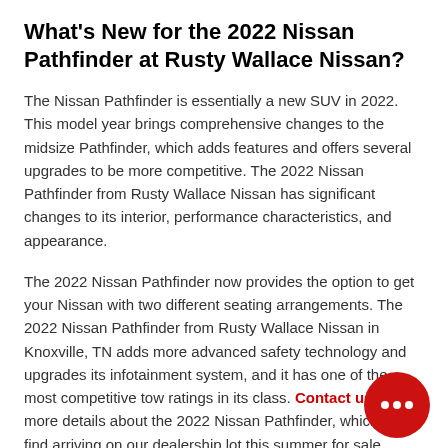What's New for the 2022 Nissan Pathfinder at Rusty Wallace Nissan?
The Nissan Pathfinder is essentially a new SUV in 2022. This model year brings comprehensive changes to the midsize Pathfinder, which adds features and offers several upgrades to be more competitive. The 2022 Nissan Pathfinder from Rusty Wallace Nissan has significant changes to its interior, performance characteristics, and appearance.
The 2022 Nissan Pathfinder now provides the option to get your Nissan with two different seating arrangements. The 2022 Nissan Pathfinder from Rusty Wallace Nissan in Knoxville, TN adds more advanced safety technology and upgrades its infotainment system, and it has one of the most competitive tow ratings in its class. Contact us for more details about the 2022 Nissan Pathfinder, which you'll find arriving on our dealership lot this summer for sale.
[Figure (other): Red circular chat bubble icon with three dots (ellipsis) in the bottom-right corner of the page]